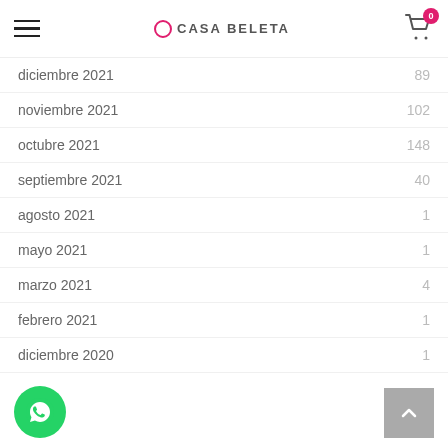Casa Beleta
diciembre 2021   89
noviembre 2021   102
octubre 2021   148
septiembre 2021   40
agosto 2021   1
mayo 2021   1
marzo 2021   4
febrero 2021   1
diciembre 2020   1